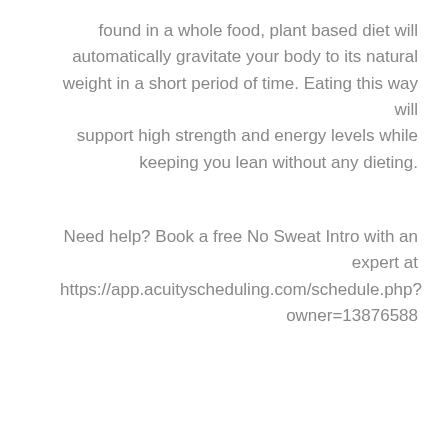found in a whole food, plant based diet will automatically gravitate your body to its natural weight in a short period of time. Eating this way will support high strength and energy levels while keeping you lean without any dieting.
Need help? Book a free No Sweat Intro with an expert at https://app.acuityscheduling.com/schedule.php?owner=13876588